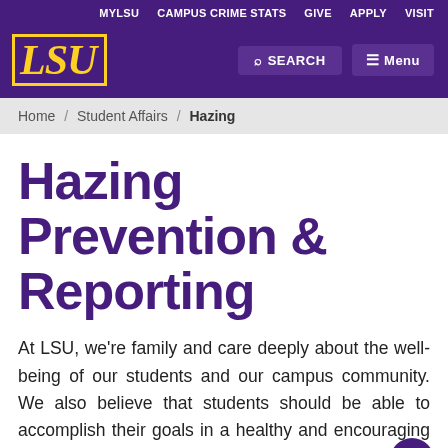MYLSU  CAMPUS CRIME STATS  GIVE  APPLY  VISIT
[Figure (logo): LSU logo in yellow italic text with yellow border on purple background]
Home / Student Affairs / Hazing
Hazing Prevention & Reporting
At LSU, we’re family and care deeply about the well-being of our students and our campus community. We also believe that students should be able to accomplish their goals in a healthy and encouraging environment, which fosters personal growth and